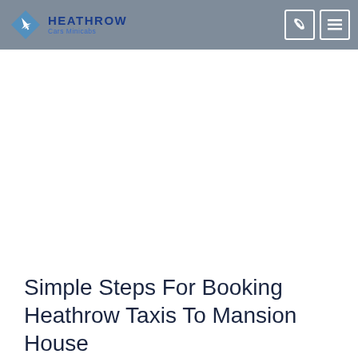[Figure (logo): Heathrow Cars Minicabs logo with airplane icon and navigation icons (phone and hamburger menu) in grey header bar]
Simple Steps For Booking Heathrow Taxis To Mansion House